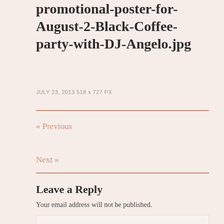promotional-poster-for-August-2-Black-Coffee-party-with-DJ-Angelo.jpg
JULY 23, 2013 518 x 727 PX
« Previous
Next »
Leave a Reply
Your email address will not be published.